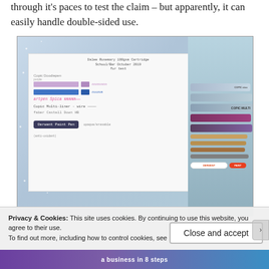through it's paces to test the claim – but apparently, it can easily handle double-sided use.
[Figure (photo): Photo of a white card with handwritten marker swatches (Copic Doodiepen purple, blue, Artpen Rosa, Copic Multi-liner wire, Faber Castell Down HB, Derwent Paint Pen) alongside a stack of Copic Ciao and Copic Multi markers and pencils on a blue starry background.]
Privacy & Cookies: This site uses cookies. By continuing to use this website, you agree to their use.
To find out more, including how to control cookies, see here: Cookie Policy
Close and accept